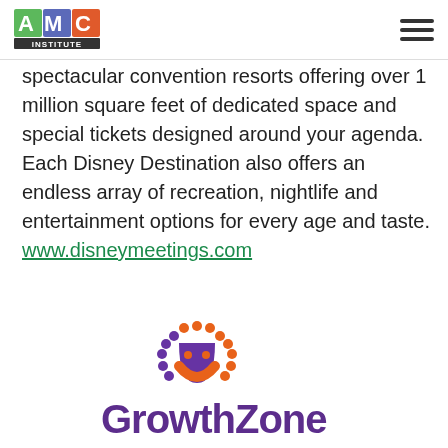AMC Institute — Purpose-driven. Business-led.
spectacular convention resorts offering over 1 million square feet of dedicated space and special tickets designed around your agenda. Each Disney Destination also offers an endless array of recreation, nightlife and entertainment options for every age and taste. www.disneymeetings.com
[Figure (logo): GrowthZone logo — orange and purple circular icon above stylized purple 'GrowthZone' wordmark (partially cropped at bottom)]